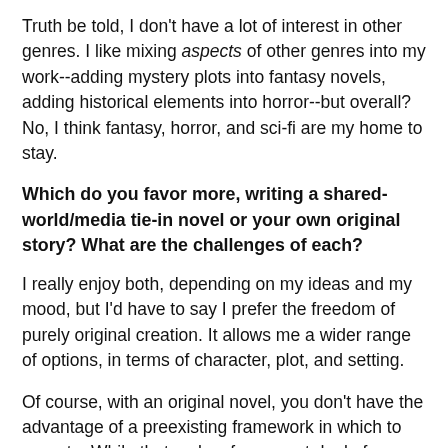Truth be told, I don't have a lot of interest in other genres. I like mixing aspects of other genres into my work--adding mystery plots into fantasy novels, adding historical elements into horror--but overall? No, I think fantasy, horror, and sci-fi are my home to stay.
Which do you favor more, writing a shared-world/media tie-in novel or your own original story? What are the challenges of each?
I really enjoy both, depending on my ideas and my mood, but I'd have to say I prefer the freedom of purely original creation. It allows me a wider range of options, in terms of character, plot, and setting.
Of course, with an original novel, you don't have the advantage of a preexisting framework in which to operate. While that makes for a great deal of creative freedom, as I said, it also means there's more work to make sure that the foundation of the novel is steady, and that the setting is rich enough to feel believable. It can be harder to find an audience, as well. When you write a Magic novel, an